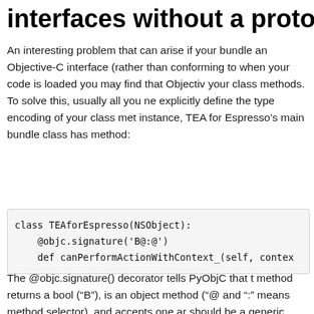interfaces without a proto...
An interesting problem that can arise if your bundle exposes an Objective-C interface (rather than conforming to a protocol) when your code is loaded you may find that Objective-C ignores your class methods. To solve this, usually all you need to do is explicitly define the type encoding of your class methods. For instance, TEA for Espresso's main bundle class has the following method:
class TEAforEspresso(NSObject):
    @objc.signature('B@:@')
    def canPerformActionWithContext_(self, contex...
The @objc.signature() decorator tells PyObjC that this method returns a bool (“B”), is an object method (“@” and “:” means method selector), and accepts one argument that should be a generic object (“@” again meaning object). For a list of available encoding characters, see the Objective...